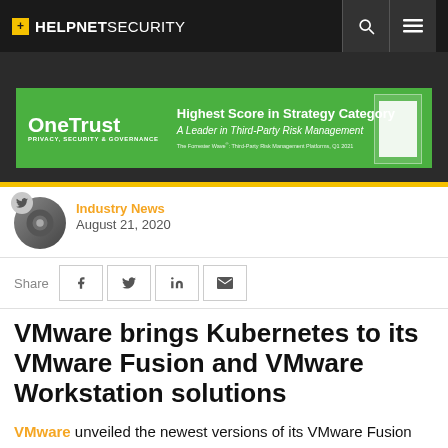+ HELPNETSECURITY
[Figure (illustration): OneTrust advertisement banner - green background with text: Highest Score in Strategy Category, A Leader in Third-Party Risk Management, The Forrester Wave, Third-Party Risk Management Platforms, Q1 2021]
Industry News
August 21, 2020
Share
VMware brings Kubernetes to its VMware Fusion and VMware Workstation solutions
VMware unveiled the newest versions of its VMware Fusion and VMware Workstation desktop hypervisor solutions. VMware's updates support the changing needs of modern